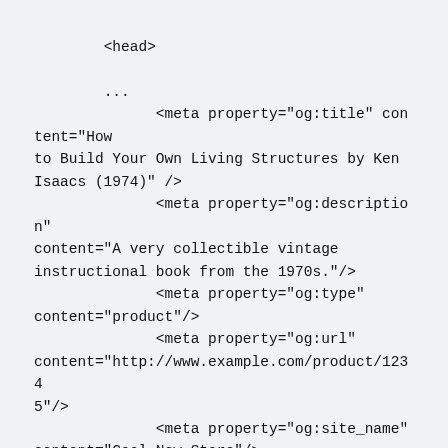<head>

        ...
              <meta property="og:title" content="How to Build Your Own Living Structures by Ken Isaacs (1974)" />
              <meta property="og:description" content="A very collectible vintage instructional book from the 1970s."/>
              <meta property="og:type" content="product"/>
              <meta property="og:url" content="http://www.example.com/product/12345"/>
              <meta property="og:site_name" content="Cool New Store"/>